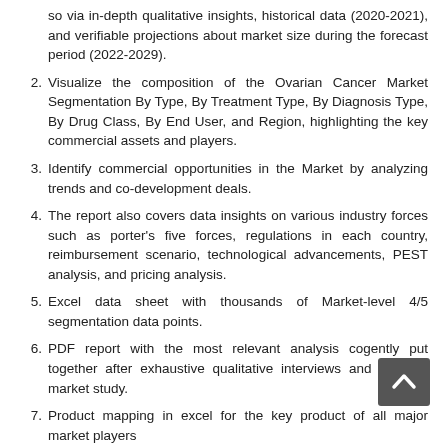so via in-depth qualitative insights, historical data (2020-2021), and verifiable projections about market size during the forecast period (2022-2029).
2. Visualize the composition of the Ovarian Cancer Market Segmentation By Type, By Treatment Type, By Diagnosis Type, By Drug Class, By End User, and Region, highlighting the key commercial assets and players.
3. Identify commercial opportunities in the Market by analyzing trends and co-development deals.
4. The report also covers data insights on various industry forces such as porter's five forces, regulations in each country, reimbursement scenario, technological advancements, PEST analysis, and pricing analysis.
5. Excel data sheet with thousands of Market-level 4/5 segmentation data points.
6. PDF report with the most relevant analysis cogently put together after exhaustive qualitative interviews and in-depth market study.
7. Product mapping in excel for the key product of all major market players
8. The report will provide access to approximately 50+ market data tables, 40+ figures, and close to 180 pages.